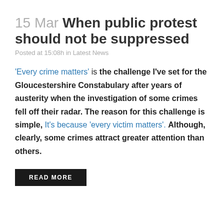15 Mar When public protest should not be suppressed
Posted at 15:08h in Latest News
'Every crime matters' is the challenge I've set for the Gloucestershire Constabulary after years of austerity when the investigation of some crimes fell off their radar. The reason for this challenge is simple, It's because 'every victim matters'. Although, clearly, some crimes attract greater attention than others.
READ MORE